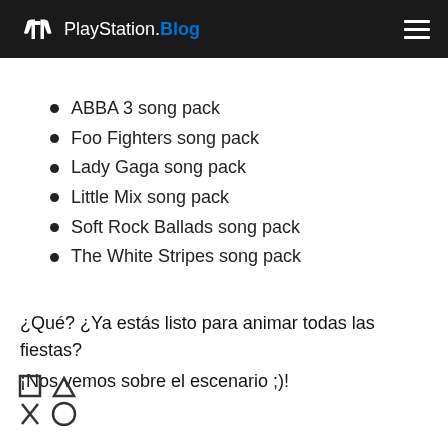PlayStation.Blog
ABBA 3 song pack
Foo Fighters song pack
Lady Gaga song pack
Little Mix song pack
Soft Rock Ballads song pack
The White Stripes song pack
¿Qué? ¿Ya estás listo para animar todas las fiestas?
¡Nos vemos sobre el escenario ;)!
[Figure (logo): PlayStation controller symbols (square, triangle, cross, circle) in a 2x2 grid, outline style]